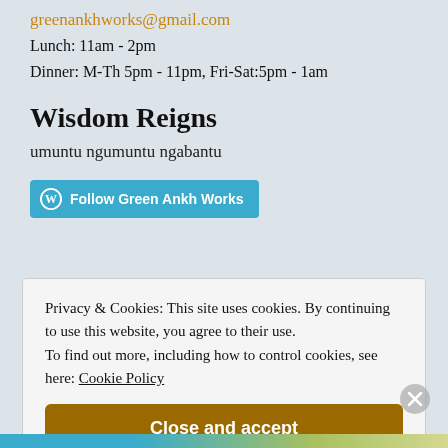greenankhworks@gmail.com
Lunch: 11am - 2pm
Dinner: M-Th 5pm - 11pm, Fri-Sat:5pm - 1am
Wisdom Reigns
umuntu ngumuntu ngabantu
[Figure (other): Follow Green Ankh Works button with WordPress icon]
Privacy & Cookies: This site uses cookies. By continuing to use this website, you agree to their use. To find out more, including how to control cookies, see here: Cookie Policy
Close and accept